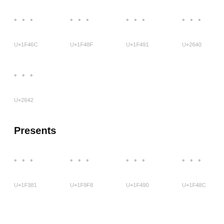[Figure (other): Grid of emoji placeholder cells with three dots and Unicode code points. Row 1: U+1F46C, U+1F48F, U+1F491, U+2640]
[Figure (other): Single emoji placeholder cell: U+2642]
Presents
[Figure (other): Grid of emoji placeholder cells with three dots and Unicode code points. Row 2: U+1F381, U+1F9F8, U+1F490, U+1F48C]